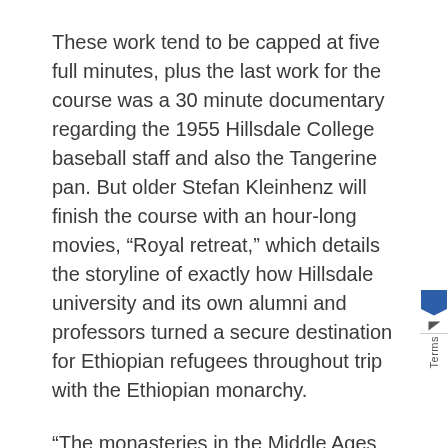These work tend to be capped at five full minutes, plus the last work for the course was a 30 minute documentary regarding the 1955 Hillsdale College baseball staff and also the Tangerine pan. But older Stefan Kleinhenz will finish the course with an hour-long movies, “Royal retreat,” which details the storyline of exactly how Hillsdale university and its own alumni and professors turned a secure destination for Ethiopian refugees throughout trip with the Ethiopian monarchy.
“The monasteries in the Middle Ages were held alive using the manuscripts and, in a number of good sense, that is what colleges should really be performing. They ought to be keeping alive the last through their particular manuscripts and discussions and discussion — and today, new techniques of filming,” stated